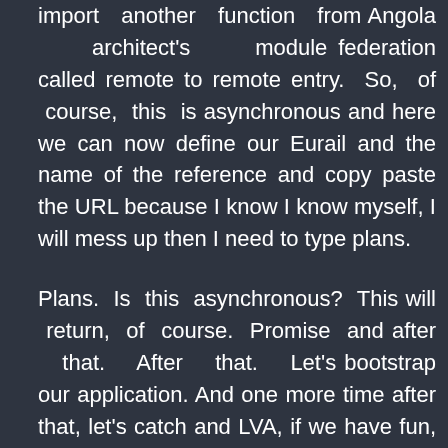import another function from Angola architect's module federation called remote to remote entry. So, of course, this is asynchronous and here we can now define our Eurail and the name of the reference and copy paste the URL because I know I know myself, I will mess up then I need to type plans.
Plans. Is this asynchronous? This will return, of course. Promise and after that. After that. Let's bootstrap our application. And one more time after that, let's catch and LVA, if we have fun, we can also catch the arrow before it, which means if something does not work, then at least the application is bootstrapped.